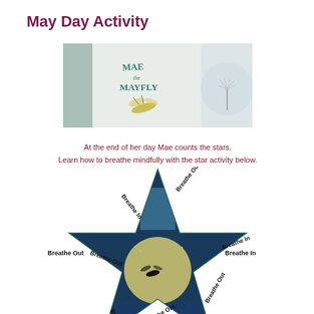May Day Activity
[Figure (illustration): Book cover for 'Mae the Mayfly' showing a mayfly insect illustration on a light teal/grey background, with a dandelion image on the right side]
At the end of her day Mae counts the stars.
Learn how to breathe mindfully with the star activity below.
[Figure (infographic): A star shape (five-pointed) with a nighttime illustration of a mayfly near a moon inside it. Around each edge of the star are the words 'Breathe In' and 'Breathe Out' alternating, meant to guide mindful breathing along the star's edges.]